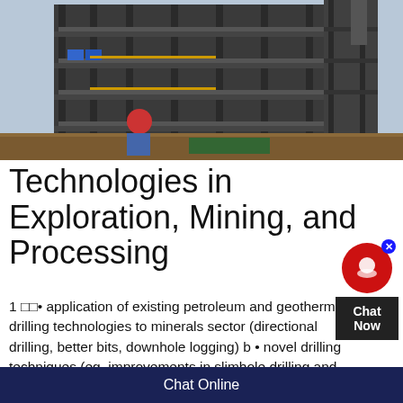[Figure (photo): Industrial mining or processing facility with large multi-story steel structure framework. A worker in a red hard hat and blue uniform is visible in the foreground talking on a phone.]
Technologies in Exploration, Mining, and Processing
1 □□• application of existing petroleum and geothermal drilling technologies to minerals sector (directional drilling, better bits, downhole logging) b • novel drilling techniques (eg, improvements in slimhole drilling and insitu measurements) aPure
Chat Online